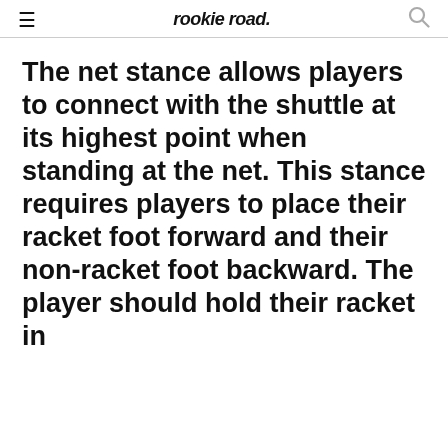rookie road
The net stance allows players to connect with the shuttle at its highest point when standing at the net. This stance requires players to place their racket foot forward and their non-racket foot backward. The player should hold their racket in